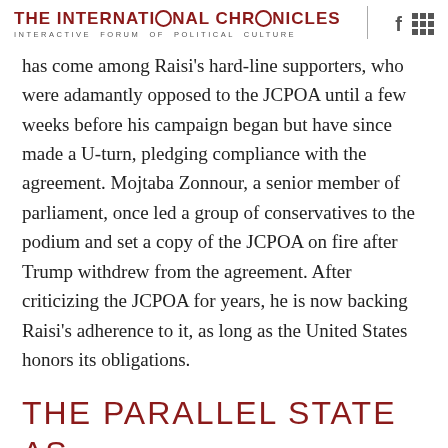THE INTERNATIONAL CHRONICLES
INTERACTIVE FORUM OF POLITICAL CULTURE
has come among Raisi's hard-line supporters, who were adamantly opposed to the JCPOA until a few weeks before his campaign began but have since made a U-turn, pledging compliance with the agreement. Mojtaba Zonnour, a senior member of parliament, once led a group of conservatives to the podium and set a copy of the JCPOA on fire after Trump withdrew from the agreement. After criticizing the JCPOA for years, he is now backing Raisi's adherence to it, as long as the United States honors its obligations.
THE PARALLEL STATE AS UNITARY STATE